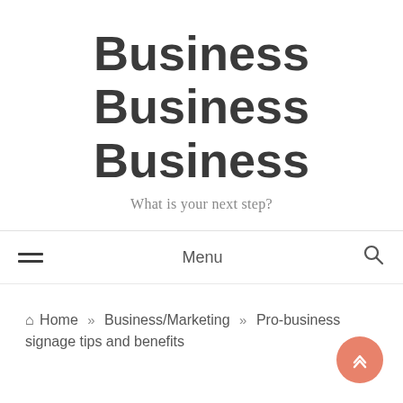Business Business Business
What is your next step?
Menu
Home » Business/Marketing » Pro-business signage tips and benefits